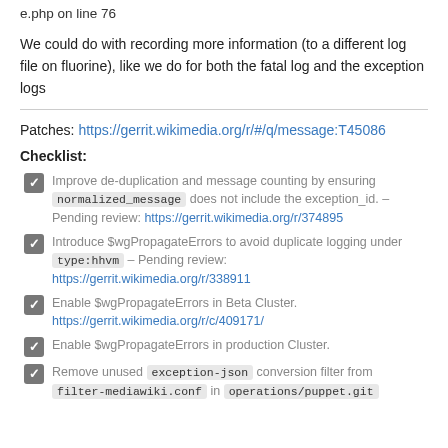e.php on line 76
We could do with recording more information (to a different log file on fluorine), like we do for both the fatal log and the exception logs
Patches: https://gerrit.wikimedia.org/r/#/q/message:T45086
Checklist:
Improve de-duplication and message counting by ensuring normalized_message does not include the exception_id. – Pending review: https://gerrit.wikimedia.org/r/374895
Introduce $wgPropagateErrors to avoid duplicate logging under type:hhvm – Pending review: https://gerrit.wikimedia.org/r/338911
Enable $wgPropagateErrors in Beta Cluster. https://gerrit.wikimedia.org/r/c/409171/
Enable $wgPropagateErrors in production Cluster.
Remove unused exception-json conversion filter from filter-mediawiki.conf in operations/puppet.git